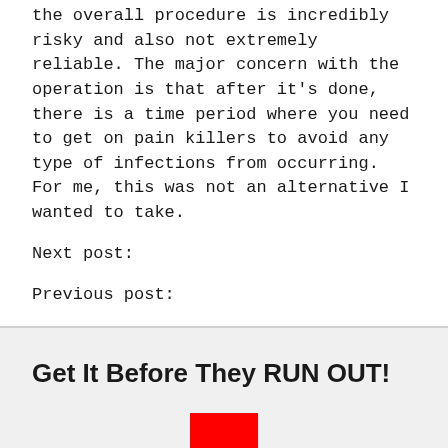the overall procedure is incredibly risky and also not extremely reliable. The major concern with the operation is that after it's done, there is a time period where you need to get on pain killers to avoid any type of infections from occurring. For me, this was not an alternative I wanted to take.
Next post:
Previous post:
Get It Before They RUN OUT!
[Figure (other): Red rectangle image/button]